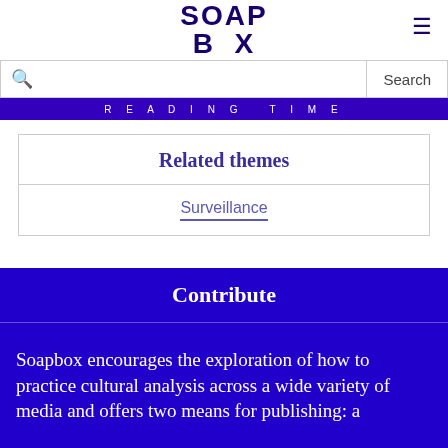SOAP BX
Reading time
Related themes
Surveillance
Contribute
Soapbox encourages the exploration of how to practice cultural analysis across a wide variety of media and offers two means for publishing: a